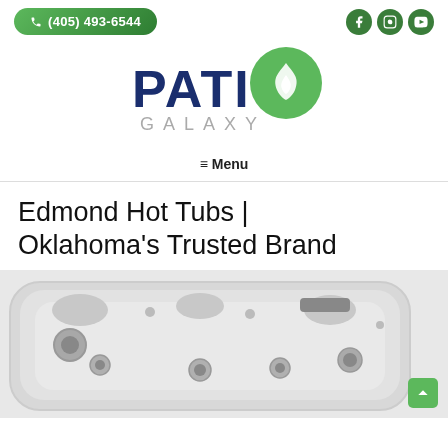(405) 493-6544
[Figure (logo): Patio Galaxy logo with dark blue bold text PATIO and a green circular flame icon, with GALAXY in grey spaced letters below]
≡ Menu
Edmond Hot Tubs | Oklahoma's Trusted Brand
[Figure (photo): Aerial/top-down view of a white/grey hot tub spa with multiple seats, jets, and controls visible, set against a white background]